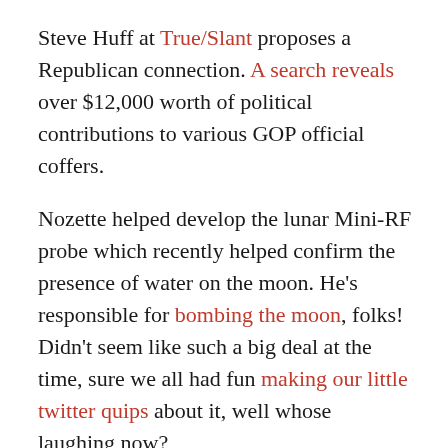Steve Huff at True/Slant proposes a Republican connection. A search reveals over $12,000 worth of political contributions to various GOP official coffers.
Nozette helped develop the lunar Mini-RF probe which recently helped confirm the presence of water on the moon. He's responsible for bombing the moon, folks! Didn't seem like such a big deal at the time, sure we all had fun making our little twitter quips about it, well whose laughing now?
If we were willing to let this guy have the keys to hurl projectiles at our lunar little brother, who knows what else we could have allowed him to blow up next. Pluto? Uranus?